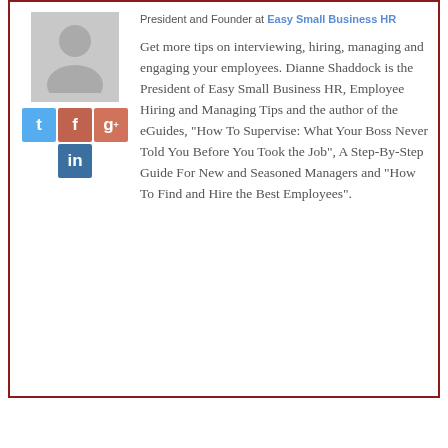[Figure (illustration): Generic grey avatar silhouette of a person]
President and Founder at Easy Small Business HR
Get more tips on interviewing, hiring, managing and engaging your employees. Dianne Shaddock is the President of Easy Small Business HR, Employee Hiring and Managing Tips and the author of the eGuides, "How To Supervise: What Your Boss Never Told You Before You Took the Job", A Step-By-Step Guide For New and Seasoned Managers and "How To Find and Hire the Best Employees".